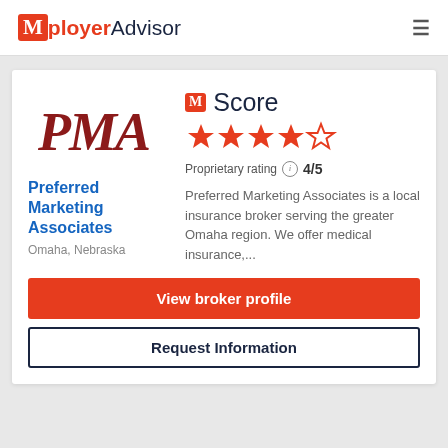[Figure (logo): Mployer Advisor logo with orange M icon and navigation hamburger menu]
[Figure (logo): PMA (Preferred Marketing Associates) cursive red logo]
M Score
[Figure (other): 4 out of 5 orange stars rating]
Proprietary rating ⓘ 4/5
Preferred Marketing Associates
Omaha, Nebraska
Preferred Marketing Associates is a local insurance broker serving the greater Omaha region. We offer medical insurance,...
View broker profile
Request Information